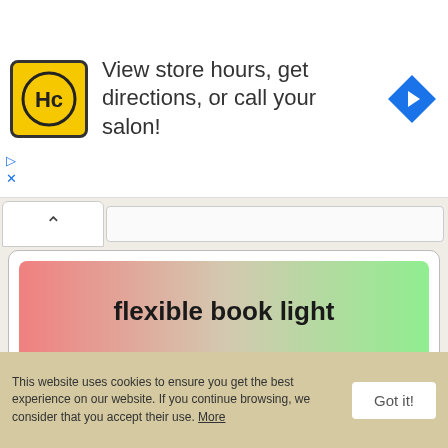[Figure (screenshot): Advertisement banner for Hair Club (HC) with yellow logo, text 'View store hours, get directions, or call your salon!' and a blue navigation arrow icon]
flexible book light
flexible gooseneck pipe
This website uses cookies to ensure you get the best experience on our website. If you continue browsing, we consider that you accept their use. More